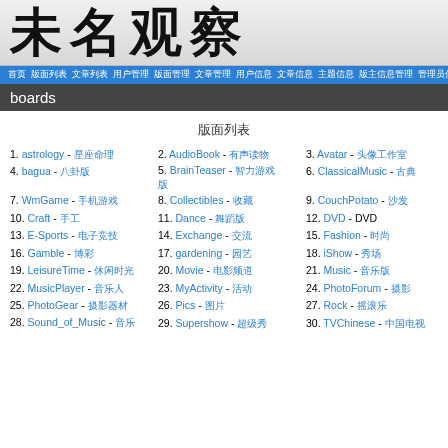未名观察
首页 版面列表 文章列表 用户管理 版面管理 文章管理 用户信息 文章信息 主题信息 版主信息管理 管理员信息管理 用户信息 注销
boards
版面列表
1. astrology - 星座命理
2. AudioBook - 有声读物
3. Avatar - 头像工作室
4. bagua - 八卦版
5. BrainTeaser - 智力游戏
6. ClassicalMusic - 古典音乐
7. WmGame - 手机游戏
8. Collectibles - 收藏
9. CouchPotato - 沙发土豆
10. Craft - 手工
11. Dance - 舞蹈版
12. DVD - DVD
13. E-Sports - 电子竞技
14. Exchange - 交流
15. Fashion - 时尚
16. Gamble - 博彩
17. gardening - 园艺
18. iShow - 秀场
19. LeisureTime - 休闲时光站
20. Movie - 电影频道
21. Music - 音乐版
22. MusicPlayer - 音乐人
23. MyActivity - 活动
24. PhotoForum - 摄影
25. PhotoGear - 摄影器材
26. Pics - 图片
27. Rock - 摇滚乐
28. Sound_of_Music - 音乐
29. Supershow - 超级秀
30. TVChinese - 中国电视